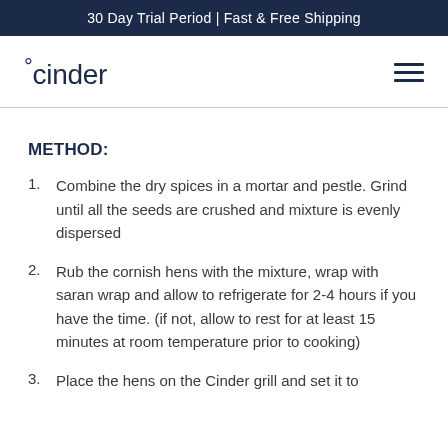30 Day Trial Period | Fast & Free Shipping
[Figure (logo): °cinder logo with hamburger menu icon]
METHOD:
Combine the dry spices in a mortar and pestle. Grind until all the seeds are crushed and mixture is evenly dispersed
Rub the cornish hens with the mixture, wrap with saran wrap and allow to refrigerate for 2-4 hours if you have the time. (if not, allow to rest for at least 15 minutes at room temperature prior to cooking)
Place the hens on the Cinder grill and set it to